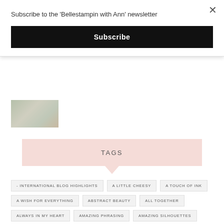Subscribe to the 'Bellestampin with Ann' newsletter
Subscribe
[Figure (photo): Partial view of a crafting/stamping image, mostly cut off]
TAGS
- INTERNATIONAL BLOG HIGHLIGHTS
A LITTLE CHEESY
A TOUCH OF INK
A WISH FOR EVERYTHING
ABSTRACT BEAUTY
ALL TOGETHER
ALWAYS IN MY HEART
AMAZING PHRASING
AMAZING SILHOUETTES
APPROACHING PERFECTION
ART GALLERY
ART IN BLOOM
ARTFULLY LAYERED
ARTISAN DESIGN TEAM
ARTISTIC DIES